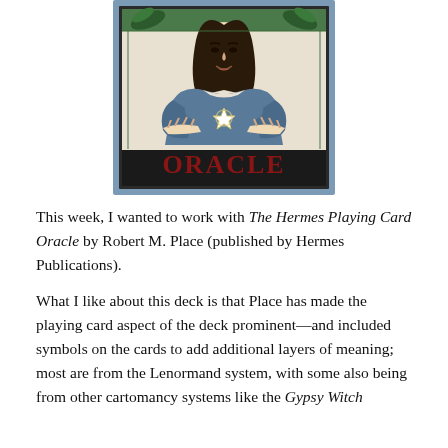[Figure (illustration): Illustration of a tarot/oracle card cover art showing a woman with long dark hair, wearing a blue robe, holding her hands over a glowing star. The card is bordered with a blue frame containing decorative green leaf motifs. The word 'ORACLE' is written in large red letters at the bottom of the card.]
This week, I wanted to work with The Hermes Playing Card Oracle by Robert M. Place (published by Hermes Publications).
What I like about this deck is that Place has made the playing card aspect of the deck prominent—and included symbols on the cards to add additional layers of meaning; most are from the Lenormand system, with some also being from other cartomancy systems like the Gypsy Witch